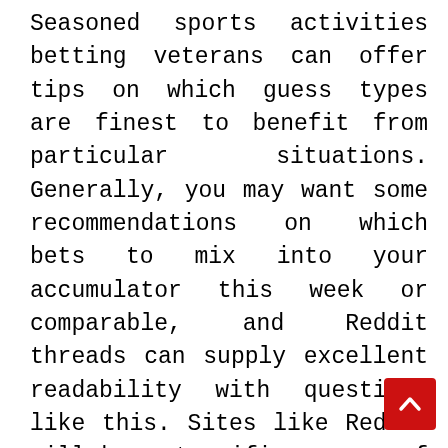Seasoned sports activities betting veterans can offer tips on which guess types are finest to benefit from particular situations. Generally, you may want some recommendations on which bets to mix into your accumulator this week or comparable, and Reddit threads can supply excellent readability with questions like this. Sites like Reddit will be a terrific source of common betting recommendations too. Bookmaker has nice alternatives to guess on sports activities which are held everywhere in the world. The extra you wager on it, the better you'll slot deposit pulsa tanpa potongan understand it and the higher your possibilities of success. Verify if their site is accessible with smartphones because you might have to shortly stake a guess whenever you don't have